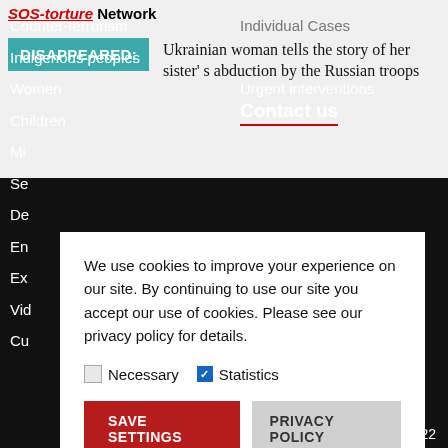SOS-torture Network
DISAPPEARED: Ukrainian woman tells the story of her sister's abduction by the Russian troops
Counter-terrorism
Indigenous peoples
Women
Children
Mi...
Se...
De...
En...
Ex...
Vid...
Cu...
Individual Cases
Urgent interventions
Contact us
We use cookies to improve your experience on our site. By continuing to use our site you accept our use of cookies. Please see our privacy policy for details.
Necessary  Statistics
SAVE SETTINGS  PRIVACY POLICY
22